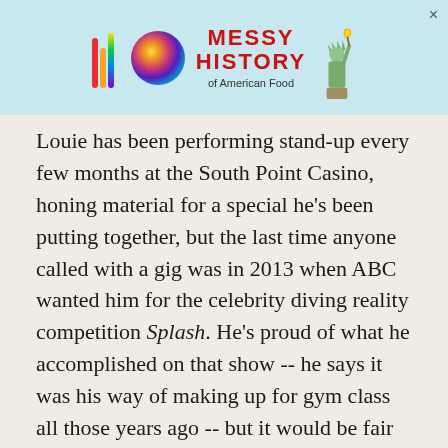[Figure (other): Advertisement banner with colorful logo (rainbow bars and multicolor sphere), red bold text 'MESSY HISTORY of American Food', and a Statue of Liberty illustration on a light blue background. Close button (×) in top right.]
Louie has been performing stand-up every few months at the South Point Casino, honing material for a special he's been putting together, but the last time anyone called with a gig was in 2013 when ABC wanted him for the celebrity diving reality competition Splash. He's proud of what he accomplished on that show -- he says it was his way of making up for gym class all those years ago -- but it would be fair to say it had been a while since Louie Anderson was last in the mainstream comedy conversation.
"You know what the best thing is? Not them offering you for a job, but just thinking of you," he said on the car ride to the store. "I've been 37 years in this